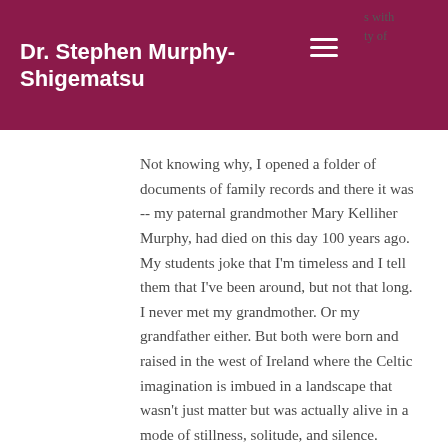Dr. Stephen Murphy-Shigematsu
Not knowing why, I opened a folder of documents of family records and there it was -- my paternal grandmother Mary Kelliher Murphy, had died on this day 100 years ago. My students joke that I'm timeless and I tell them that I've been around, but not that long. I never met my grandmother. Or my grandfather either. But both were born and raised in the west of Ireland where the Celtic imagination is imbued in a landscape that wasn't just matter but was actually alive in a mode of stillness, solitude, and silence.
I sensed that knowing my grandparents through Celtic wisdom could help me to